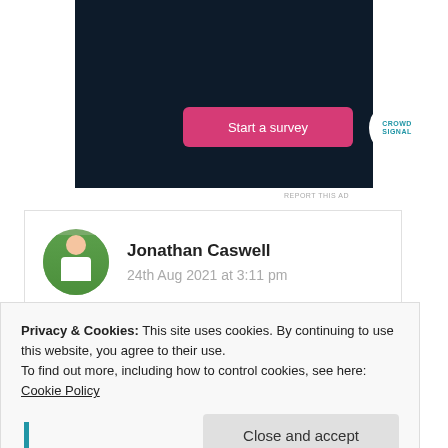[Figure (screenshot): Dark navy advertisement banner with a pink 'Start a survey' button and a circular Crowdsignal logo on a dark background, with 'REPORT THIS AD' text below]
REPORT THIS AD
Jonathan Caswell
24th Aug 2021 at 3:11 pm
Reblogged this on By the Mighty Mumford.
Privacy & Cookies: This site uses cookies. By continuing to use this website, you agree to their use.
To find out more, including how to control cookies, see here: Cookie Policy
Close and accept